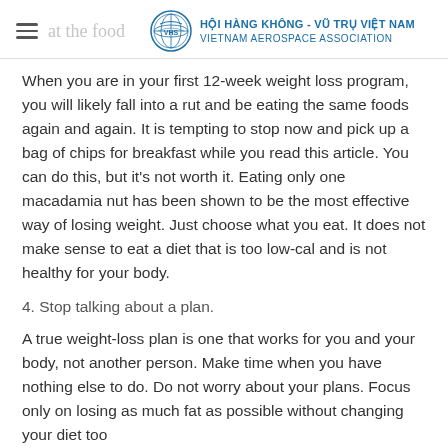HOI HANG KHONG - VU TRU VIET NAM | VIETNAM AEROSPACE ASSOCIATION
When you are in your first 12-week weight loss program, you will likely fall into a rut and be eating the same foods again and again. It is tempting to stop now and pick up a bag of chips for breakfast while you read this article. You can do this, but it's not worth it. Eating only one macadamia nut has been shown to be the most effective way of losing weight. Just choose what you eat. It does not make sense to eat a diet that is too low-cal and is not healthy for your body.
4. Stop talking about a plan.
A true weight-loss plan is one that works for you and your body, not another person. Make time when you have nothing else to do. Do not worry about your plans. Focus only on losing as much fat as possible without changing your diet too